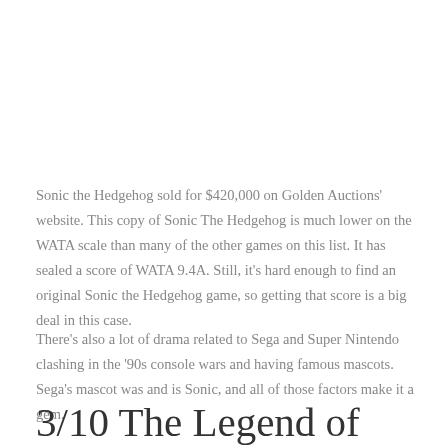Sonic the Hedgehog sold for $420,000 on Golden Auctions' website. This copy of Sonic The Hedgehog is much lower on the WATA scale than many of the other games on this list. It has sealed a score of WATA 9.4A. Still, it's hard enough to find an original Sonic the Hedgehog game, so getting that score is a big deal in this case.
There's also a lot of drama related to Sega and Super Nintendo clashing in the '90s console wars and having famous mascots. Sega's mascot was and is Sonic, and all of those factors make it a gem.
3/10 The Legend of Zelda